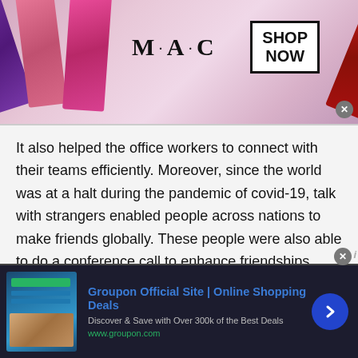[Figure (illustration): MAC cosmetics advertisement banner with colorful lipsticks on left (purple, pink, hot pink), MAC logo in center, SHOP NOW button in bordered box, red lipstick on right edge]
It also helped the office workers to connect with their teams efficiently. Moreover, since the world was at a halt during the pandemic of covid-19, talk with strangers enabled people across nations to make friends globally. These people were also able to do a conference call to enhance friendships.
4. Discuss anything from sports, games and TV shows you love by chat with people of Aruba on TWS:
[Figure (screenshot): Groupon advertisement banner with dark background showing Groupon website screenshot on left, Groupon Official Site | Online Shopping Deals title in blue, subtitle text, www.groupon.com URL in green, and blue circular arrow button on right]